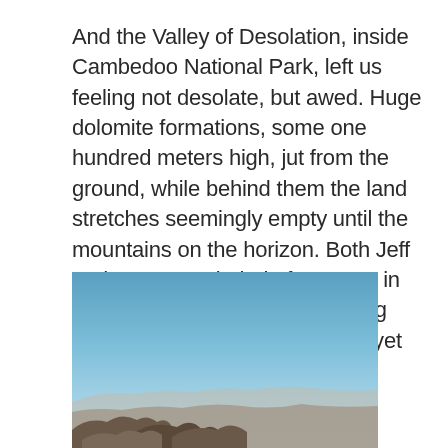And the Valley of Desolation, inside Cambedoo National Park, left us feeling not desolate, but awed. Huge dolomite formations, some one hundred meters high, jut from the ground, while behind them the land stretches seemingly empty until the mountains on the horizon. Both Jeff and I were reminded of Meteora in Greece. To us, there's something majestic about a place so stark yet so beautiful.
[Figure (photo): Landscape photograph of the Valley of Desolation in Cambedoo National Park, showing a clear blue sky above distant mountains and rocky dolomite formations in the foreground at the bottom of the frame.]